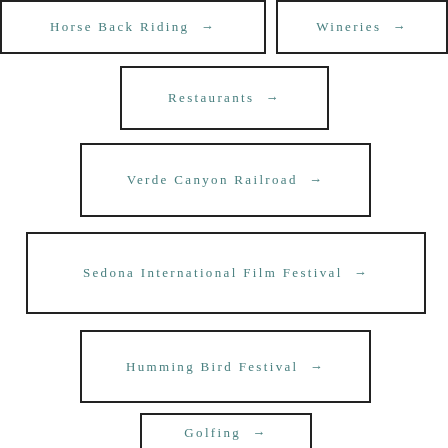Horse Back Riding →
Wineries →
Restaurants →
Verde Canyon Railroad →
Sedona International Film Festival →
Humming Bird Festival →
Golfing →